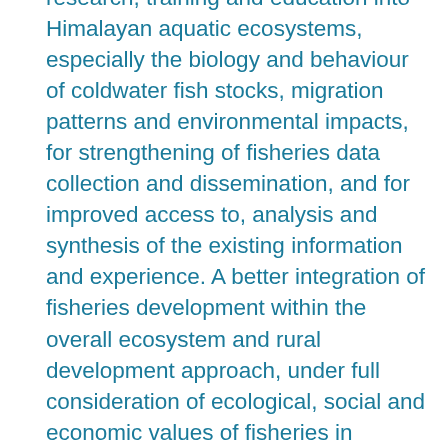research, training and education into Himalayan aquatic ecosystems, especially the biology and behaviour of coldwater fish stocks, migration patterns and environmental impacts, for strengthening of fisheries data collection and dissemination, and for improved access to, analysis and synthesis of the existing information and experience. A better integration of fisheries development within the overall ecosystem and rural development approach, under full consideration of ecological, social and economic values of fisheries in relation to agriculture, conservation and hydroelectric generation, is essential if fisheries is to become a more productive source of food in the region and play its full role in poverty alleviation in mountain countries. Another important issue is the need of better understanding of socio-economic conditions and livelihoods of fisher communities. This would assist in formulating better management interventions with the objective of improving livelihoods of fishers and farmers in mountain areas. Better promotion of inter-sectoral cooperation and coordination between fishery and other sectors concerned with rural development and water resources management, and improving communications and exchange of experience and information resulting from the above, require close government attention in the countries of the region. Where resources are shared among neighbouring or several countries, interlinking will assist in solving common problems. The Symposium emphasized the need for policy development, that recognises the social and economic